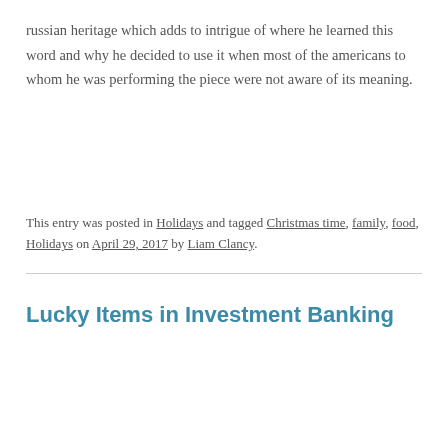russian heritage which adds to intrigue of where he learned this word and why he decided to use it when most of the americans to whom he was performing the piece were not aware of its meaning.
This entry was posted in Holidays and tagged Christmas time, family, food, Holidays on April 29, 2017 by Liam Clancy.
Lucky Items in Investment Banking